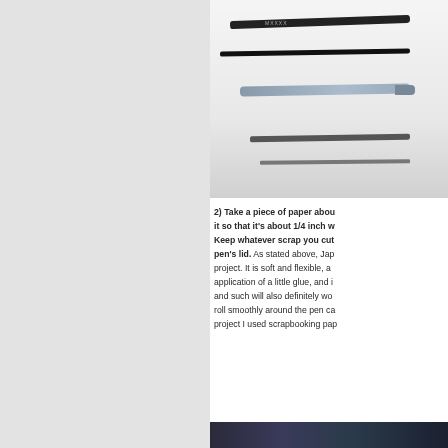[Figure (photo): Photo of several pens and markers laid out on a white surface, including a black marker, thin black pen, silver/gray pen, and fine liner]
2) Take a piece of paper about it so that it's about 1/4 inch w Keep whatever scrap you cut pen's lid. As stated above, Jap project. It is soft and flexible, a application of a little glue, and i and such will also definitely wo roll smoothly around the pen c project I used scrapbooking pa
[Figure (photo): Bottom portion of a dark patterned fabric or paper, partially visible at the bottom of the page]